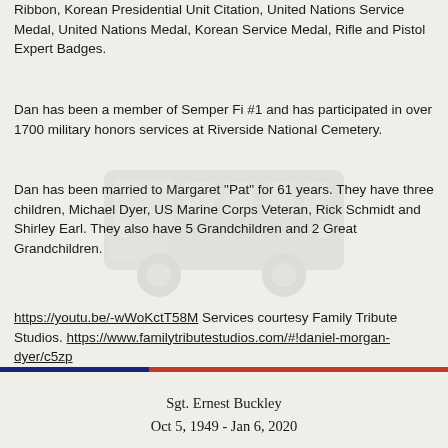Ribbon, Korean Presidential Unit Citation, United Nations Service Medal, United Nations Medal, Korean Service Medal, Rifle and Pistol Expert Badges.
Dan has been a member of Semper Fi #1 and has participated in over 1700 military honors services at Riverside National Cemetery.
Dan has been married to Margaret “Pat” for 61 years. They have three children, Michael Dyer, US Marine Corps Veteran, Rick Schmidt and Shirley Earl. They also have 5 Grandchildren and 2 Great Grandchildren.
https://youtu.be/-wWoKctT58M Services courtesy Family Tribute Studios. https://www.familytributestudios.com/#!daniel-morgan-dyer/c5zp
[Figure (illustration): Faded watermark image of a military vehicle (bus/truck) in the background]
Sgt. Ernest Buckley
Oct 5, 1949 - Jan 6, 2020